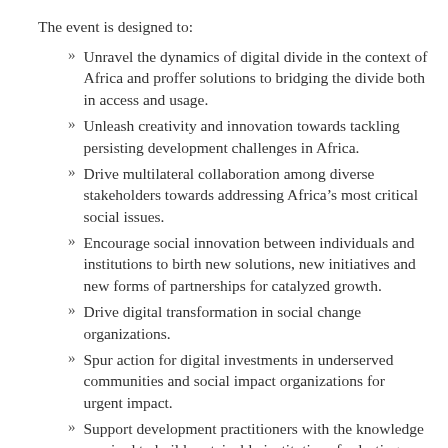The event is designed to:
Unravel the dynamics of digital divide in the context of Africa and proffer solutions to bridging the divide both in access and usage.
Unleash creativity and innovation towards tackling persisting development challenges in Africa.
Drive multilateral collaboration among diverse stakeholders towards addressing Africa's most critical social issues.
Encourage social innovation between individuals and institutions to birth new solutions, new initiatives and new forms of partnerships for catalyzed growth.
Drive digital transformation in social change organizations.
Spur action for digital investments in underserved communities and social impact organizations for urgent impact.
Support development practitioners with the knowledge required to build sustainable institutions for lasting